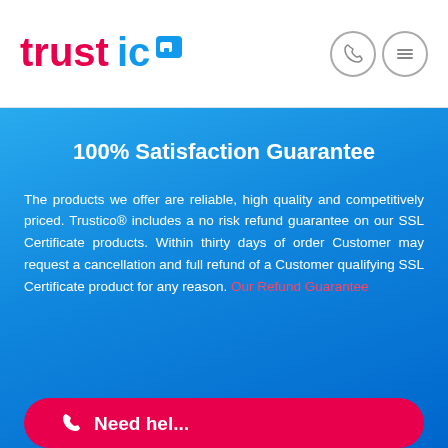[Figure (logo): Trustico logo in red and blue with a small blue padlock icon]
[Figure (other): Phone icon in a grey circle and hamburger menu icon in a grey circle]
100% Satisfaction Guarantee
The products we offer are reliable, high quality and competitively priced. Trustico® includes a no risk refund guarantee on our SSL Certificate products. Within thirty days of order Customer may request a cancellation and full refund of a Customer qualifying SSL Certificate product for any reason. Our Refund Guarantee
[Figure (other): Red pill-shaped CTA button at the bottom with phone icon and partially visible phone number text]